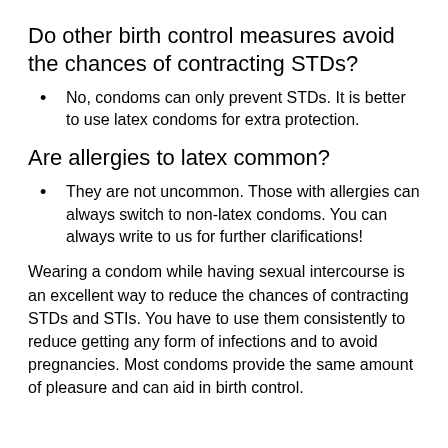Do other birth control measures avoid the chances of contracting STDs?
No, condoms can only prevent STDs. It is better to use latex condoms for extra protection.
Are allergies to latex common?
They are not uncommon. Those with allergies can always switch to non-latex condoms. You can always write to us for further clarifications!
Wearing a condom while having sexual intercourse is an excellent way to reduce the chances of contracting STDs and STIs. You have to use them consistently to reduce getting any form of infections and to avoid pregnancies. Most condoms provide the same amount of pleasure and can aid in birth control.